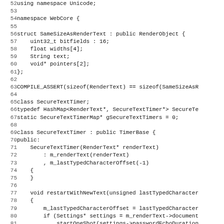Source code listing, lines 52-84, C++ code for WebCore RenderText and SecureTextTimer